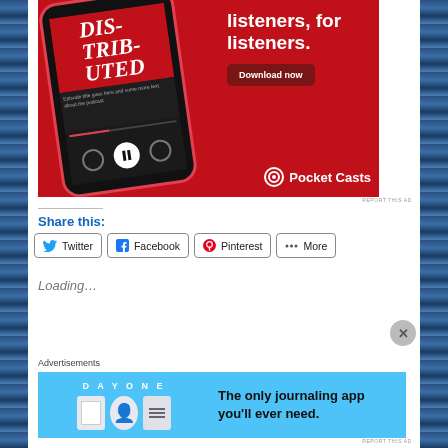[Figure (illustration): Pocket Casts podcast app advertisement on red background showing smartphone with 'Distributed' podcast, headline 'listeners, for listeners.' and 'Download now' button with Pocket Casts logo]
REPORT THIS AD
Share this:
Twitter
Facebook
Pinterest
More
Loading...
Advertisements
[Figure (illustration): Day One journaling app advertisement on blue background with text 'The only journaling app you'll ever need.']